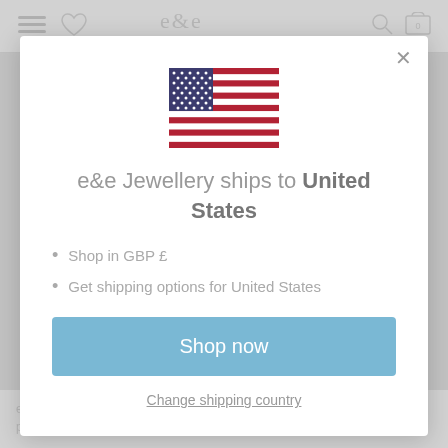[Figure (screenshot): Background website page with navigation bar showing hamburger menu, heart icon, e&e logo, search and cart icons. Bottom shows partial text about wearing jewelry.]
[Figure (illustration): US flag illustration shown inside modal popup]
e&e Jewellery ships to United States
Shop in GBP £
Get shipping options for United States
Shop now
Change shipping country